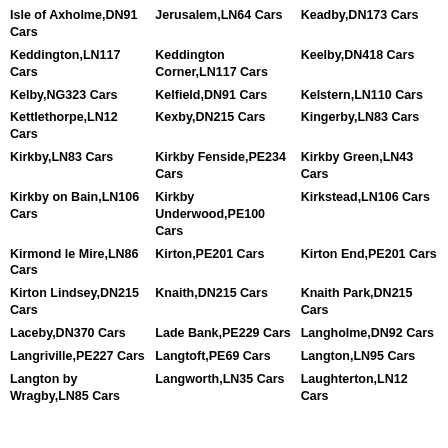Isle of Axholme,DN91 Cars
Jerusalem,LN64 Cars
Keadby,DN173 Cars
Keddington,LN117 Cars
Keddington Corner,LN117 Cars
Keelby,DN418 Cars
Kelby,NG323 Cars
Kelfield,DN91 Cars
Kelstern,LN110 Cars
Kettlethorpe,LN12 Cars
Kexby,DN215 Cars
Kingerby,LN83 Cars
Kirkby,LN83 Cars
Kirkby Fenside,PE234 Cars
Kirkby Green,LN43 Cars
Kirkby on Bain,LN106 Cars
Kirkby Underwood,PE100 Cars
Kirkstead,LN106 Cars
Kirmond le Mire,LN86 Cars
Kirton,PE201 Cars
Kirton End,PE201 Cars
Kirton Lindsey,DN215 Cars
Knaith,DN215 Cars
Knaith Park,DN215 Cars
Laceby,DN370 Cars
Lade Bank,PE229 Cars
Langholme,DN92 Cars
Langriville,PE227 Cars
Langtoft,PE69 Cars
Langton,LN95 Cars
Langton by Wragby,LN85 Cars
Langworth,LN35 Cars
Laughterton,LN12 Cars